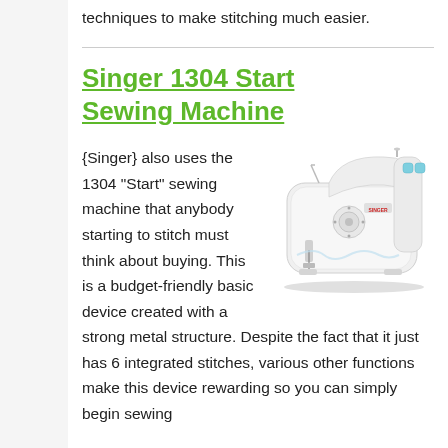techniques to make stitching much easier.
Singer 1304 Start Sewing Machine
[Figure (photo): Singer 1304 Start sewing machine, white with blue/teal accents, on a white background]
{Singer} also uses the 1304 “Start” sewing machine that anybody starting to stitch must think about buying. This is a budget-friendly basic device created with a strong metal structure. Despite the fact that it just has 6 integrated stitches, various other functions make this device rewarding so you can simply begin sewing